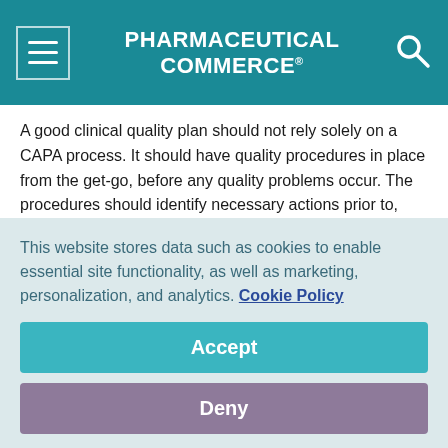PHARMACEUTICAL COMMERCE
A good clinical quality plan should not rely solely on a CAPA process. It should have quality procedures in place from the get-go, before any quality problems occur. The procedures should identify necessary actions prior to, during and after a CAPA is executed. It should also include criteria for evaluating when a CAPA is (or is not) necessary.
An electronic CQMS will equip you with tools for better assessment of quality issues. Choose a system with robust tools, such as CAPA matrix, analytics and reporting tools; best-practice forms for
This website stores data such as cookies to enable essential site functionality, as well as marketing, personalization, and analytics. Cookie Policy
Accept
Deny